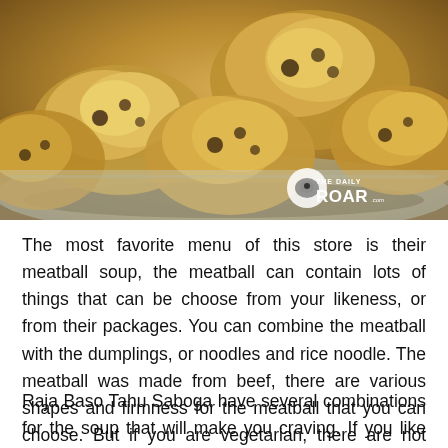[Figure (photo): Close-up photo of golden-brown fried or baked dumplings/meatballs on a tray with a 'The Daily Roar' watermark logo in the bottom right corner]
The most favorite menu of this store is their meatball soup, the meatball can contain lots of things that can be choose from your likeness, or from their packages. You can combine the meatball with the dumplings, or noodles and rice noodle. The meatball was made from beef, there are various shapes and firmness for the meatball that you can choose. But if you are vegetarian, there are not many choices that you can have in this place.
Raja Baso Tahu Saboga have several combinations for the soup that will make you craving. If you like the savory taste then you will prefer